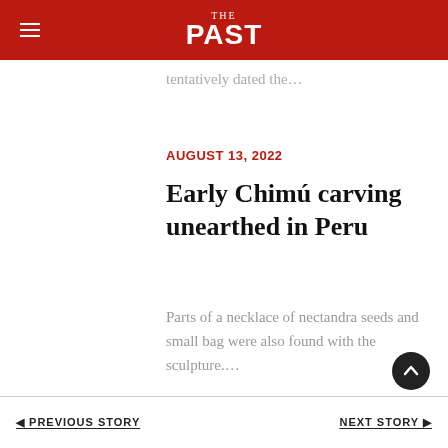THE PAST
tentatively dated the…
AUGUST 13, 2022
Early Chimú carving unearthed in Peru
Parts of a necklace of nectandra seeds and small bag were also found with the sculpture.…
PREVIOUS STORY   NEXT STORY